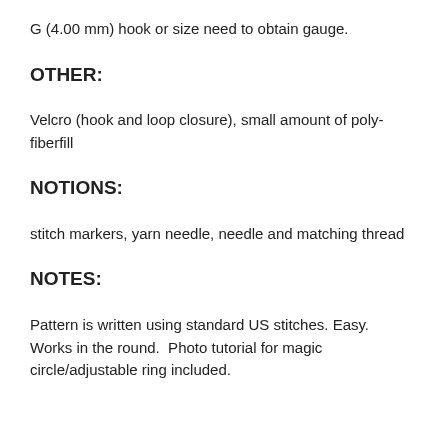G (4.00 mm) hook or size need to obtain gauge.
OTHER:
Velcro (hook and loop closure), small amount of poly-fiberfill
NOTIONS:
stitch markers, yarn needle, needle and matching thread
NOTES:
Pattern is written using standard US stitches. Easy.  Works in the round.  Photo tutorial for magic circle/adjustable ring included.